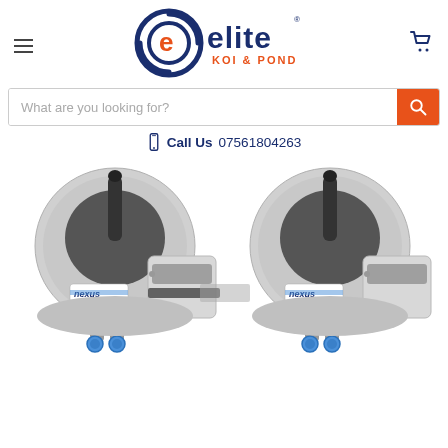[Figure (logo): Elite Koi & Pond logo with circular 'e' icon in navy/orange and cart icon]
What are you looking for?
Call Us 07561804263
[Figure (photo): Two Nexus pond filter units side by side, grey plastic cylindrical filters with blue fittings]